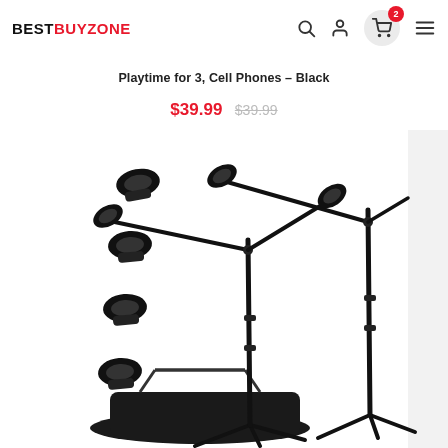BESTBUYZONE
Playtime for 3, Cell Phones – Black
$39.99  $39.99
[Figure (photo): Product photo showing microphone stands set with boom arms, multiple mic clips, a carry bag, and tripod bases, all in black.]